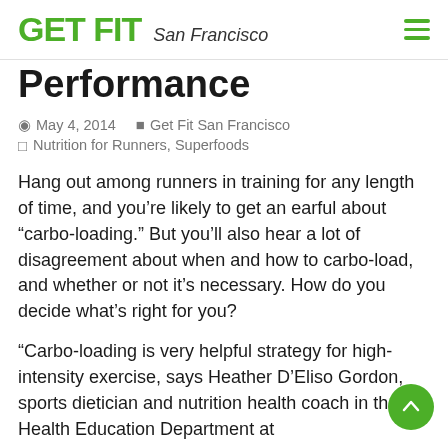GET FIT San Francisco
Performance
May 4, 2014   Get Fit San Francisco   Nutrition for Runners, Superfoods
Hang out among runners in training for any length of time, and you’re likely to get an earful about “carbo-loading.” But you’ll also hear a lot of disagreement about when and how to carbo-load, and whether or not it’s necessary. How do you decide what’s right for you?
“Carbo-loading is very helpful strategy for high-intensity exercise, says Heather D’Eliso Gordon, sports dietician and nutrition health coach in the Health Education Department at